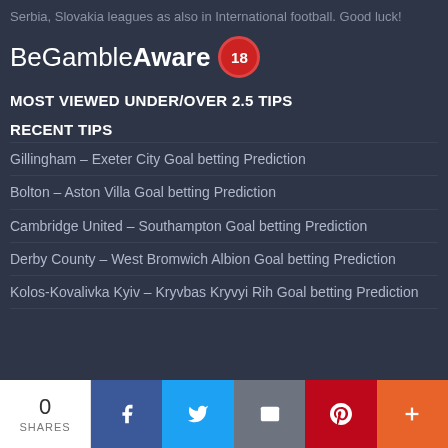Serbia, Slovakia leagues as also in International football. Good luck!
[Figure (logo): BeGambleAware logo with 18+ badge]
MOST VIEWED UNDER/OVER 2.5 TIPS
RECENT TIPS
Gillingham – Exeter City Goal betting Prediction
Bolton – Aston Villa Goal betting Prediction
Cambridge United – Southampton Goal betting Prediction
Derby County – West Bromwich Albion Goal betting Prediction
Kolos-Kovalivka Kyiv – Kryvbas Kryvyi Rih Goal betting Prediction
[Figure (infographic): Social share bar with 0 shares, Facebook, Twitter, Email, Pinterest, and More buttons]